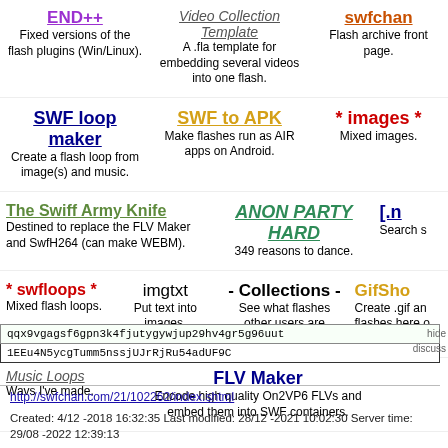END++ — Fixed versions of the flash plugins (Win/Linux).
Video Collection Template — A .fla template for embedding several videos into one flash.
swfchan — Flash archive front page.
SWF loop maker — Create a flash loop from image(s) and music.
SWF to APK — Make flashes run as AIR apps on Android.
* images * — Mixed images.
The Swiff Army Knife — Destined to replace the FLV Maker and SwfH264 (can make WEBM).
ANON PARTY HARD — 349 reasons to dance.
[.n — Search s
* swfloops * — Mixed flash loops.
imgtxt — Put text into images.
- Collections - — See what flashes other users are collecting.
GifSho — Create .gif an flashes here o
Music Loops — Wavs I've made.
FLV Maker — Encode high quality On2VP6 FLVs and embed them into SWF containers.
qqx9vgagsf6gpn3k4fjutygywjup29hv4gr5g96uut
1EEu4N5ycgTumm5nssjUJrRjRu54adUF9C
hide discuss
http://swfchan.com/21/102262/index.shtml
Created: 4/12 -2018 16:32:35 Last modified: 28/12 -2021 10:02:30 Server time: 29/08 -2022 12:39:13